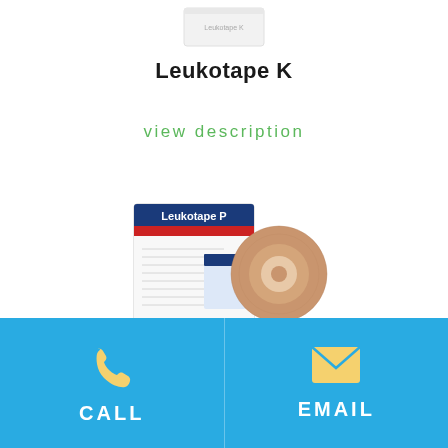[Figure (photo): Partial view of Leukotape K product at top of page]
Leukotape K
view description
[Figure (photo): Leukotape P product showing box and roll of beige tape]
CALL
EMAIL